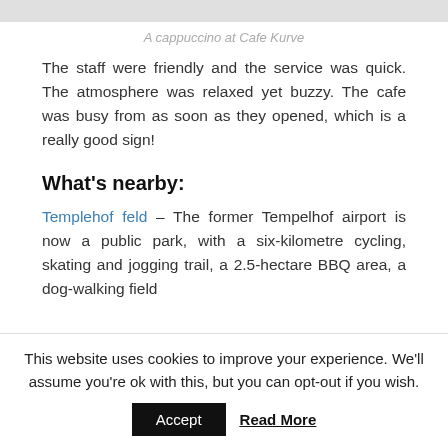[Figure (photo): Top portion of a photo (partially cropped), likely showing a cappuccino at Cafe Kurve]
A cappuccino at Cafe Kurve
The staff were friendly and the service was quick. The atmosphere was relaxed yet buzzy. The cafe was busy from as soon as they opened, which is a really good sign!
What's nearby:
Templehof feld – The former Tempelhof airport is now a public park, with a six-kilometre cycling, skating and jogging trail, a 2.5-hectare BBQ area, a dog-walking field
This website uses cookies to improve your experience. We'll assume you're ok with this, but you can opt-out if you wish.